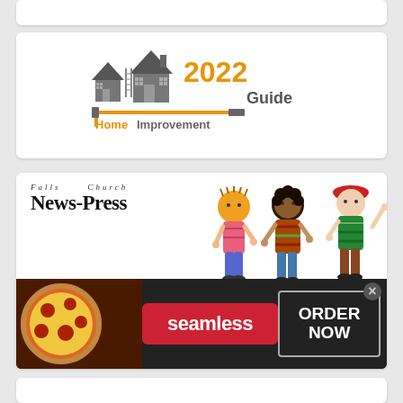[Figure (logo): Partial white card at top of page]
[Figure (logo): 2022 Home Improvement Guide logo with house silhouettes and tools]
[Figure (logo): Falls Church News-Press 2022 Camp Guide promotional card with illustrated children, infolinks badge, and seamless food delivery advertisement]